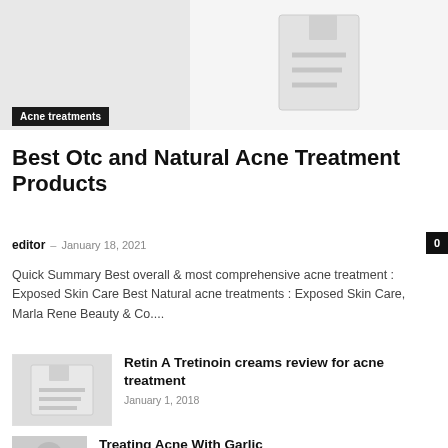[Figure (illustration): Placeholder image with document icon lines on grey background, split left grey and right light grey]
Acne treatments
Best Otc and Natural Acne Treatment Products
editor – January 18, 2021   0
Quick Summary Best overall & most comprehensive acne treatment : Exposed Skin Care Best Natural acne treatments : Exposed Skin Care, Marla Rene Beauty & Co....
[Figure (illustration): Small thumbnail image placeholder grey box with document lines]
Retin A Tretinoin creams review for acne treatment
January 1, 2018
Treating Acne With Garlic